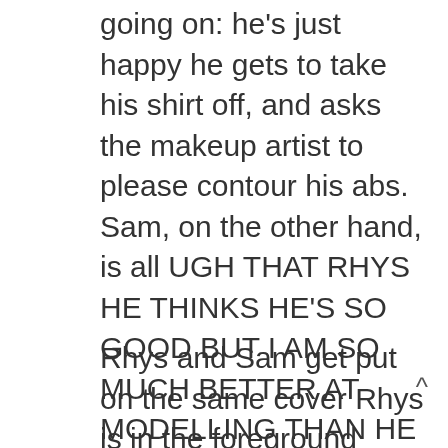going on: he's just happy he gets to take his shirt off, and asks the makeup artist to please contour his abs. Sam, on the other hand, is all UGH THAT RHYS HE THINKS HE'S SO GOOD BUT I AM SO MUCH BETTER AT MODELLING THAN HE IS UGH UGH UGH HE IS THE WORST YOU GUYS DON'T YOU THINK THAT HE IS THE WORST?
Rhys and Sam get put on the same cover Rhys is in the foreground pouring a bucket of water over himself while Sam is lurking sinisterly with an axe in the back. Oh, Bachie, you bring us such qualities, entert...